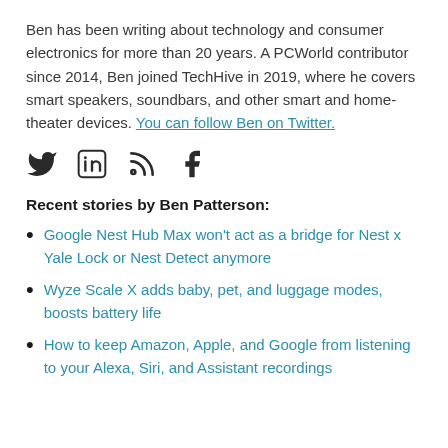Ben has been writing about technology and consumer electronics for more than 20 years. A PCWorld contributor since 2014, Ben joined TechHive in 2019, where he covers smart speakers, soundbars, and other smart and home-theater devices. You can follow Ben on Twitter.
[Figure (other): Social media icons: Twitter, LinkedIn, RSS feed, Facebook]
Recent stories by Ben Patterson:
Google Nest Hub Max won't act as a bridge for Nest x Yale Lock or Nest Detect anymore
Wyze Scale X adds baby, pet, and luggage modes, boosts battery life
How to keep Amazon, Apple, and Google from listening to your Alexa, Siri, and Assistant recordings